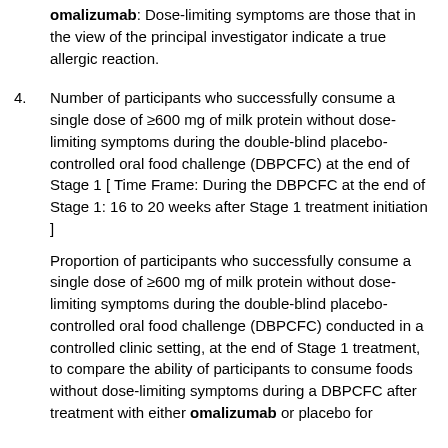omalizumab: Dose-limiting symptoms are those that in the view of the principal investigator indicate a true allergic reaction.
Number of participants who successfully consume a single dose of ≥600 mg of milk protein without dose-limiting symptoms during the double-blind placebo-controlled oral food challenge (DBPCFC) at the end of Stage 1 [ Time Frame: During the DBPCFC at the end of Stage 1: 16 to 20 weeks after Stage 1 treatment initiation ]
Proportion of participants who successfully consume a single dose of ≥600 mg of milk protein without dose-limiting symptoms during the double-blind placebo-controlled oral food challenge (DBPCFC) conducted in a controlled clinic setting, at the end of Stage 1 treatment, to compare the ability of participants to consume foods without dose-limiting symptoms during a DBPCFC after treatment with either omalizumab or placebo for